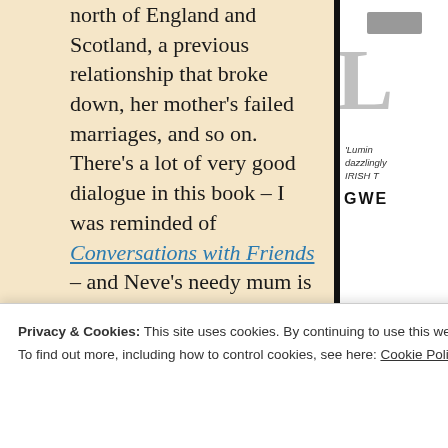north of England and Scotland, a previous relationship that broke down, her mother's failed marriages, and so on. There's a lot of very good dialogue in this book – I was reminded of Conversations with Friends – and Neve's needy mum is a great character, but I wasn't sure what this all amounts to. As best I can make out, we are meant to question Neve's self-destructive habits, with Edwyn being just the latest
Privacy & Cookies: This site uses cookies. By continuing to use this website, you agree to their use. To find out more, including how to control cookies, see here: Cookie Policy